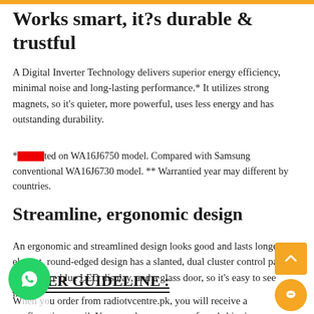Works smart, it?s durable & trustful
A Digital Inverter Technology delivers superior energy efficiency, minimal noise and long-lasting performance.* It utilizes strong magnets, so it's quieter, more powerful, uses less energy and has outstanding durability.
*[red bar]ted on WA16J6750 model. Compared with Samsung conventional WA16J6730 model. ** Warrantied year may different by countries.
Streamline, ergonomic design
An ergonomic and streamlined design looks good and lasts longer. It's elegant, round-edged design has a slanted, dual cluster control panel, with an ice blue LED display, and a glass door, so it's easy to see inside.
ORDER GUIDELINE :
When you order from radiotvcentre.pk, you will receive a confirmation email. You can choose your preferred shipping